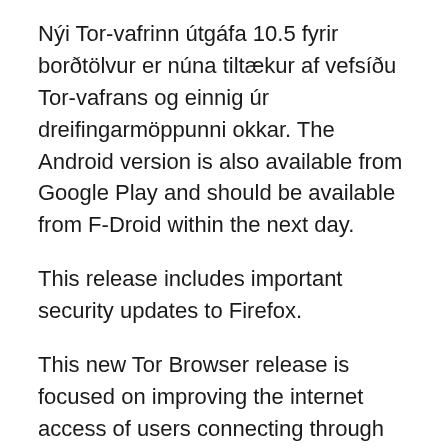Nýi Tor-vafrinn útgáfa 10.5 fyrir borðtölvur er núna tiltækur af vefsíðu Tor-vafrans og einnig úr dreifingarmöppunni okkar. The Android version is also available from Google Play and should be available from F-Droid within the next day.
This release includes important security updates to Firefox.
This new Tor Browser release is focused on improving the internet access of users connecting through Tor in censored contexts.
Hvað er nýtt?